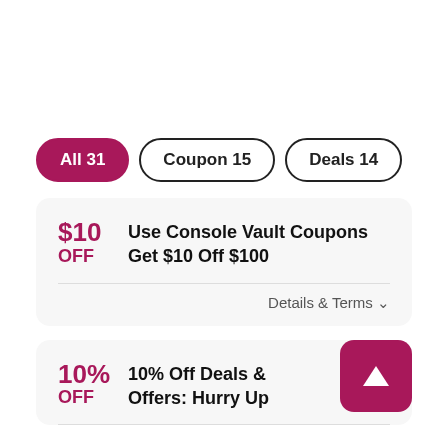All 31
Coupon 15
Deals 14
$10 OFF
Use Console Vault Coupons Get $10 Off $100
Details & Terms
10% OFF
10% Off Deals & Offers: Hurry Up